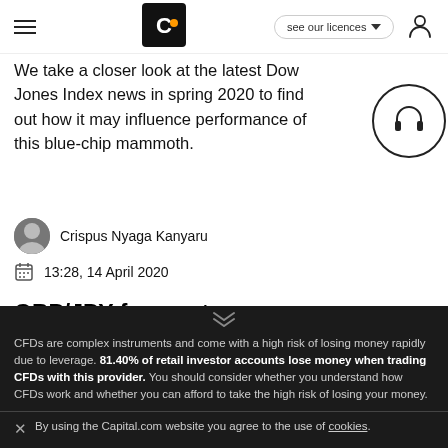Capital.com navigation bar with hamburger menu, logo, 'see our licences' button, and user account icon
We take a closer look at the latest Dow Jones Index news in spring 2020 to find out how it may influence performance of this blue-chip mammoth.
Crispus Nyaga Kanyaru
13:28, 14 April 2020
GBP/JPY forecast 2020: what to expect as economic uncertainty mounts
[Figure (photo): Photo of overlapping currency banknotes (Japanese yen)]
GBP to JPY forecast 2020: what to expect from the pair
CFDs are complex instruments and come with a high risk of losing money rapidly due to leverage. 81.40% of retail investor accounts lose money when trading CFDs with this provider. You should consider whether you understand how CFDs work and whether you can afford to take the high risk of losing your money.
By using the Capital.com website you agree to the use of cookies.